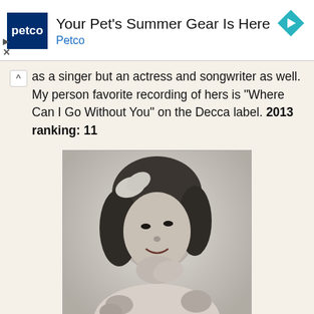[Figure (screenshot): Petco advertisement banner with logo, title 'Your Pet's Summer Gear Is Here', sponsor name 'Petco', and a teal diamond arrow icon. Play and close (X) controls on the left.]
as a singer but an actress and songwriter as well. My person favorite recording of hers is "Where Can I Go Without You" on the Decca label. 2013 ranking: 11
[Figure (photo): Black and white vintage portrait photograph of a smiling young woman with curly hair and a flower/bow accessory, resting her chin on her hand.]